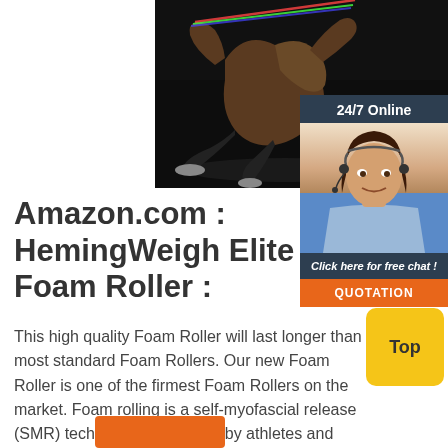[Figure (photo): Muscular male athlete performing a resistance band rowing exercise on a dark gym floor, shirtless, viewed from behind]
[Figure (infographic): 24/7 Online chat widget panel showing a female customer service agent with headset, 'Click here for free chat!' text, and an orange QUOTATION button]
Amazon.com : HemingWeigh Elite Hollow Foam Roller :
This high quality Foam Roller will last longer than most standard Foam Rollers. Our new Foam Roller is one of the firmest Foam Rollers on the market. Foam rolling is a self-myofascial release (SMR) technique that is used by athletes and physical therapists to inhibit overactive muscles.
[Figure (infographic): Yellow 'Top' button for scrolling to top of page]